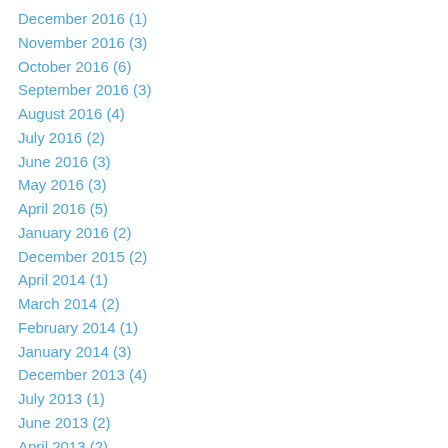December 2016 (1)
November 2016 (3)
October 2016 (6)
September 2016 (3)
August 2016 (4)
July 2016 (2)
June 2016 (3)
May 2016 (3)
April 2016 (5)
January 2016 (2)
December 2015 (2)
April 2014 (1)
March 2014 (2)
February 2014 (1)
January 2014 (3)
December 2013 (4)
July 2013 (1)
June 2013 (2)
April 2013 (2)
March 2013 (4)